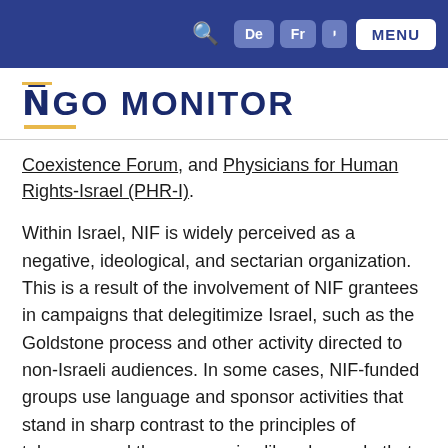NGO Monitor navigation bar with search, De, Fr, Hebrew, and MENU buttons
NGO MONITOR
Coexistence Forum, and Physicians for Human Rights-Israel (PHR-I).
Within Israel, NIF is widely perceived as a negative, ideological, and sectarian organization. This is a result of the involvement of NIF grantees in campaigns that delegitimize Israel, such as the Goldstone process and other activity directed to non-Israeli audiences. In some cases, NIF-funded groups use language and sponsor activities that stand in sharp contrast to the principles of tolerance and the progressive liberal agenda that the organization claims to support, as documented by NGO Monitor.